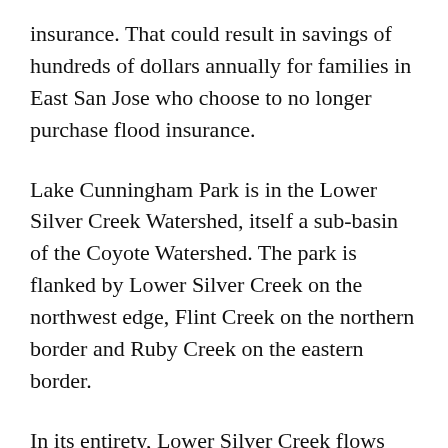insurance. That could result in savings of hundreds of dollars annually for families in East San Jose who choose to no longer purchase flood insurance.
Lake Cunningham Park is in the Lower Silver Creek Watershed, itself a sub-basin of the Coyote Watershed. The park is flanked by Lower Silver Creek on the northwest edge, Flint Creek on the northern border and Ruby Creek on the eastern border.
In its entirety, Lower Silver Creek flows generally northward from Silver Creek Road at Barberry Flint and Ruby Creeks are tributary streams rising in the hills east of the park and flowing westward to the eastern portion of Lake